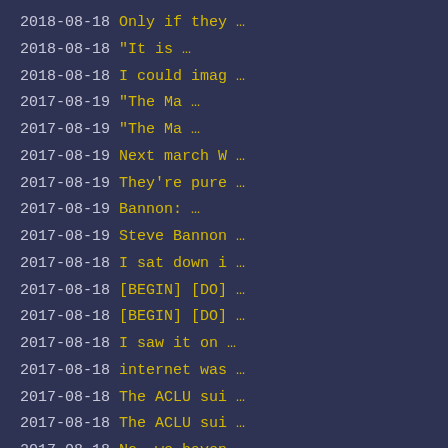2018-08-18 Only if they …
2018-08-18 "It is …
2018-08-18 I could imag …
2017-08-19 "The Ma …
2017-08-19 "The Ma …
2017-08-19 Next march W …
2017-08-19 They're pure …
2017-08-19 Bannon: …
2017-08-19 Steve Bannon …
2017-08-18 I sat down i …
2017-08-18 [BEGIN] [DO] …
2017-08-18 [BEGIN] [DO] …
2017-08-18 I saw it on …
2017-08-18 internet was …
2017-08-18 The ACLU sui …
2017-08-18 The ACLU sui …
2017-08-18 No, we haven …